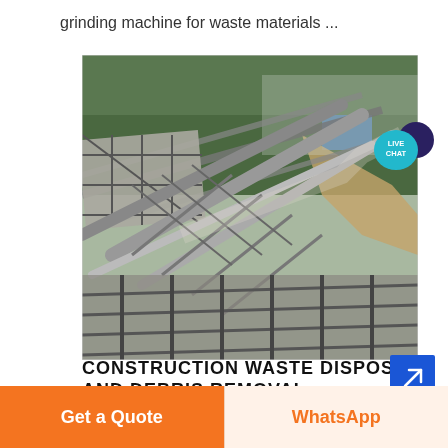grinding machine for waste materials ...
[Figure (photo): Aerial/angled view of a large industrial construction site showing heavy steel scaffolding, conveyor structures, and debris/rubble with trees and a road in the background. Appears to be a grinding or crushing facility for construction waste.]
CONSTRUCTION WASTE DISPOSAL AND DEBRIS REMOVAL
Get a Quote
WhatsApp